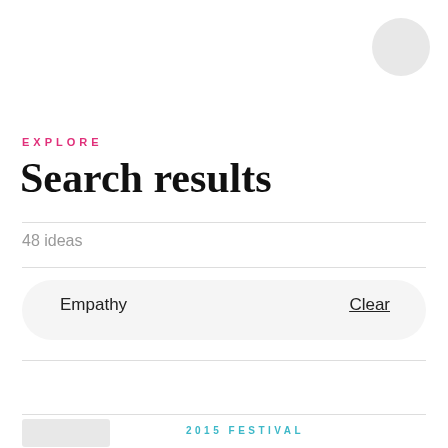[Figure (photo): Circular avatar/profile photo placeholder in top-right corner]
EXPLORE
Search results
48 ideas
Empathy    Clear
2015 FESTIVAL